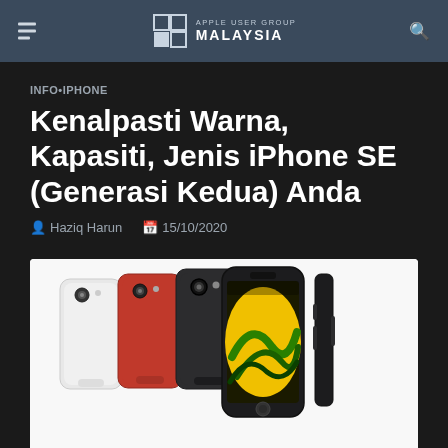APPLE USER GROUP MALAYSIA
INFO•IPHONE
Kenalpasti Warna, Kapasiti, Jenis iPhone SE (Generasi Kedua) Anda
Haziq Harun  |  15/10/2020
[Figure (photo): iPhone SE (2nd generation) shown in multiple colors: white, red, black (back views) and black front view with yellow wallpaper, plus a side profile view]